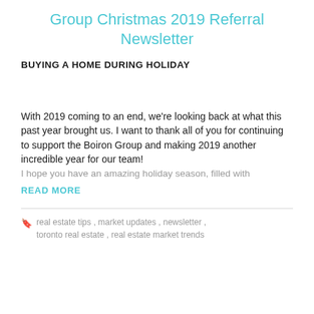Group Christmas 2019 Referral Newsletter
BUYING A HOME DURING HOLIDAY
With 2019 coming to an end, we're looking back at what this past year brought us. I want to thank all of you for continuing to support the Boiron Group and making 2019 another incredible year for our team! I hope you have an amazing holiday season, filled with
READ MORE
real estate tips, market updates, newsletter, toronto real estate, real estate market trends